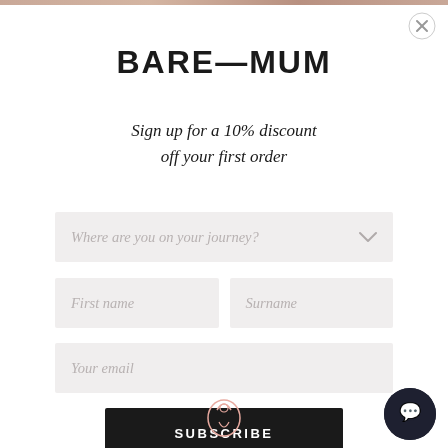[Figure (screenshot): Top decorative stripe image]
[Figure (logo): Close button X in top right corner]
BARE—MUM
Sign up for a 10% discount off your first order
[Figure (screenshot): Dropdown field: Where are you on your journey?]
[Figure (screenshot): First name and Surname input fields side by side]
[Figure (screenshot): Your email input field]
[Figure (screenshot): SUBSCRIBE button]
[Figure (logo): Bare Mum script logo in pink outline at bottom center]
[Figure (logo): Dark circular chat icon at bottom right]